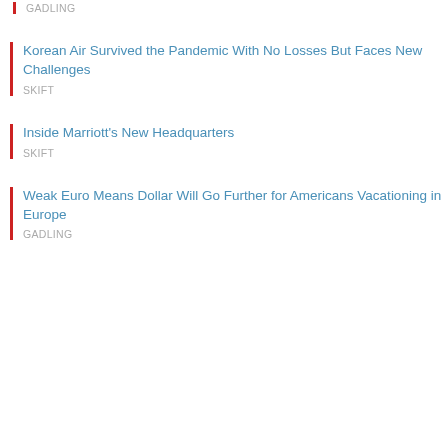GADLING
Korean Air Survived the Pandemic With No Losses But Faces New Challenges
SKIFT
Inside Marriott's New Headquarters
SKIFT
Weak Euro Means Dollar Will Go Further for Americans Vacationing in Europe
GADLING